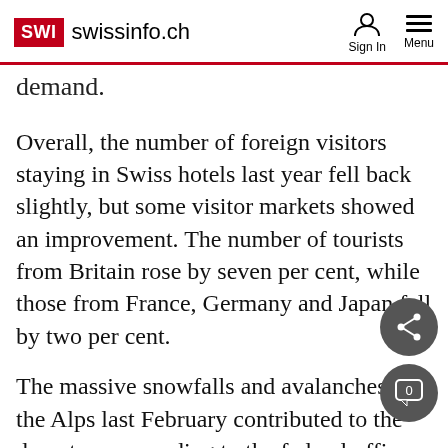SWI swissinfo.ch — Sign In  Menu
demand.
Overall, the number of foreign visitors staying in Swiss hotels last year fell back slightly, but some visitor markets showed an improvement. The number of tourists from Britain rose by seven per cent, while those from France, Germany and Japan fell by two per cent.
The massive snowfalls and avalanches in the Alps last February contributed to the downturn, according to the federal office.
The figures for 1999 are still 10 per cent below those of a decade ago, when overnight stays hit